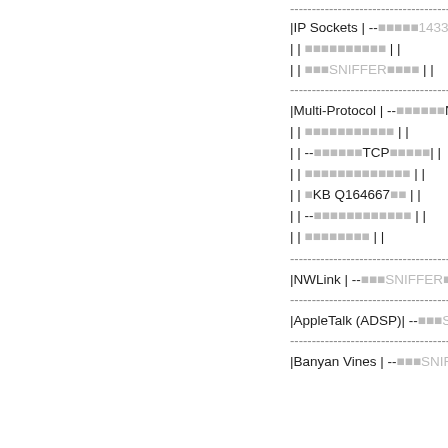| (separator) |
| |IP Sockets | --■1433■■■■■■■ |
| | | ■■■■■■■■■■ | | |
| | | ■■■SNIFFER■■■■ | | |
| (separator) |
| |Multi-Protocol | --■■■■■■NT R |
| | | ■■■■■■■■■■■ | | |
| | | --■■■■■■TCP■■■■■| | |
| | | ■■■■■■■■■■■■■ | | |
| | | ■KB Q164667■■ | | |
| | | --■■■■■■■■■■■■ | | |
| | | ■■■■■■■■ | | |
| (separator) |
| |NWLink | --■■■SNIFFER■■■■■ |
| (separator) |
| |AppleTalk (ADSP)| --■■■SNIF |
| (separator) |
| |Banyan Vines | --■■■SNIFFE |